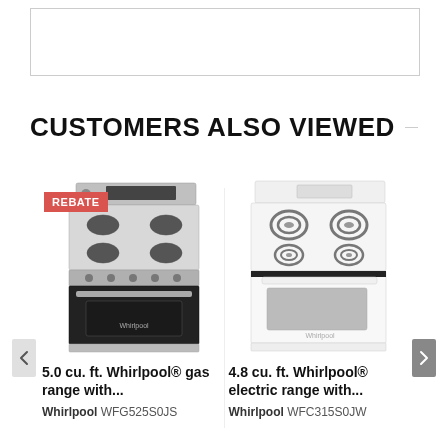[Figure (screenshot): Top placeholder rectangle, partially visible, empty white box with border]
CUSTOMERS ALSO VIEWED
[Figure (photo): Stainless steel Whirlpool gas range with REBATE badge in top left corner]
[Figure (photo): White Whirlpool electric range with coil burners]
5.0 cu. ft. Whirlpool® gas range with...
4.8 cu. ft. Whirlpool® electric range with...
Whirlpool WFG525S0JS
Whirlpool WFC315S0JW